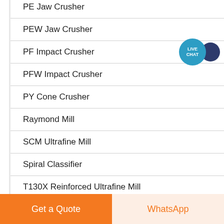PE Jaw Crusher
PEW Jaw Crusher
PF Impact Crusher
PFW Impact Crusher
PY Cone Crusher
Raymond Mill
SCM Ultrafine Mill
Spiral Classifier
T130X Reinforced Ultrafine Mill